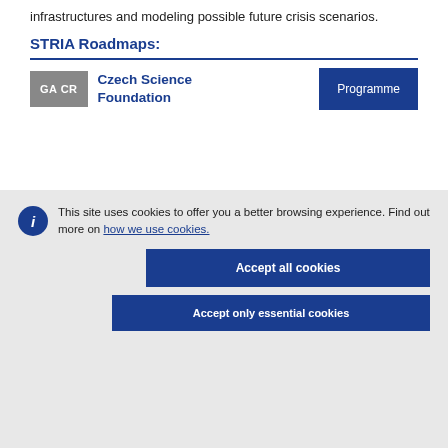infrastructures and modeling possible future crisis scenarios.
STRIA Roadmaps:
[Figure (other): GA CR badge logo with Czech Science Foundation text and Programme button]
This site uses cookies to offer you a better browsing experience. Find out more on how we use cookies.
Accept all cookies
Accept only essential cookies